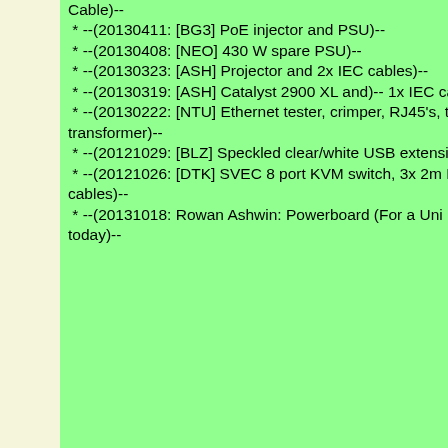Cable)--
* --(20130411: [BG3] PoE injector and PSU)--
* --(20130408: [NEO] 430 W spare PSU)--
* --(20130323: [ASH] Projector and 2x IEC cables)--
* --(20130319: [ASH] Catalyst 2900 XL and)-- 1x IEC cable
* --(20130222: [NTU] Ethernet tester, crimper, RJ45's, tape, 110V transformer)--
* --(20121029: [BLZ] Speckled clear/white USB extension cable)--
* --(20121026: [DTK] SVEC 8 port KVM switch, 3x 2m PS/2 extension cables)--
* --(20131018: Rowan Ashwin: Powerboard (For a Uni Lab), will return today)--